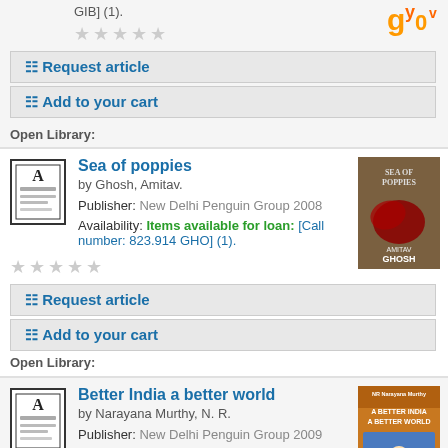GIB] (1).
★★★★★ (stars rating, empty)
Request article
Add to your cart
Open Library:
Sea of poppies
by Ghosh, Amitav.
Publisher: New Delhi Penguin Group 2008
Availability: Items available for loan: [Call number: 823.914 GHO] (1).
★★★★★ (stars rating, empty)
Request article
Add to your cart
Open Library:
Better India a better world
by Narayana Murthy, N. R.
Publisher: New Delhi Penguin Group 2009
Availability: Items available for loan: [Call number: 330.954 MUR] (2).
★★★★★ (stars rating, empty)